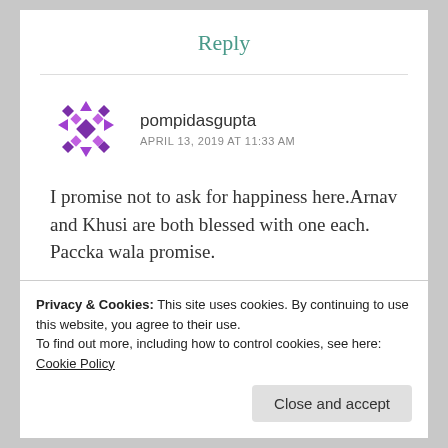Reply
[Figure (illustration): Purple geometric avatar icon for user pompidasgupta]
pompidasgupta
APRIL 13, 2019 AT 11:33 AM
I promise not to ask for happiness here.Arnav and Khusi are both blessed with one each. Paccka wala promise.
Liked by 2 people
Privacy & Cookies: This site uses cookies. By continuing to use this website, you agree to their use.
To find out more, including how to control cookies, see here: Cookie Policy
Close and accept